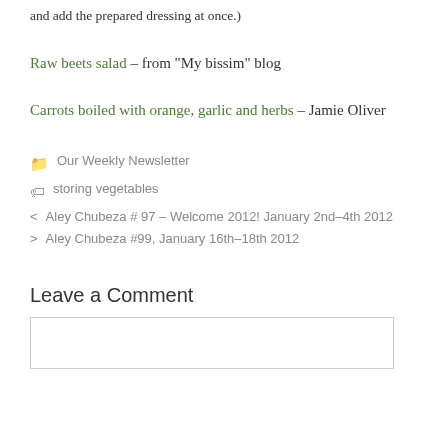and add the prepared dressing at once.)
Raw beets salad – from “My bissim” blog
Carrots boiled with orange, garlic and herbs – Jamie Oliver
Our Weekly Newsletter
storing vegetables
< Aley Chubeza # 97 – Welcome 2012! January 2nd–4th 2012
> Aley Chubeza #99, January 16th–18th 2012
Leave a Comment